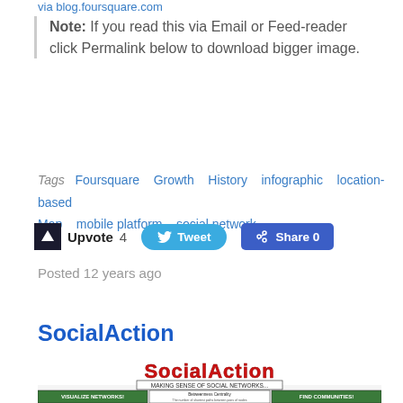via blog.foursquare.com
Note: If you read this via Email or Feed-reader click Permalink below to download bigger image.
Tags  Foursquare  Growth  History  infographic  location-based  Map  mobile platform  social network
Upvote 4    Tweet    Share 0
Posted 12 years ago
SocialAction
[Figure (screenshot): SocialAction tool screenshot showing logo 'SocialAction - Making Sense of Social Networks' with panels for Visualize Networks, Betweenness Centrality info, and Find Communities]